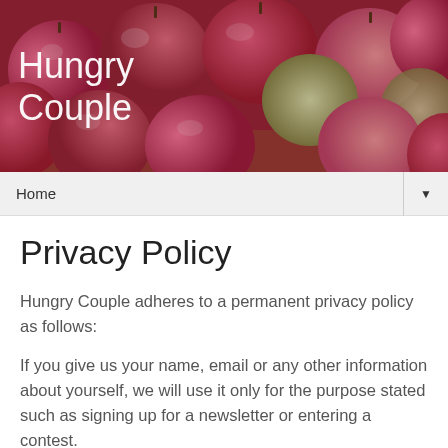[Figure (photo): Banner image showing a pile of red and green apples with 'Hungry Couple' text overlay in white]
Home ▼
Privacy Policy
Hungry Couple adheres to a permanent privacy policy as follows:
If you give us your name, email or any other information about yourself, we will use it only for the purpose stated such as signing up for a newsletter or entering a contest.
We never sell your data to others and our privacy policy includes, but is not necessarily limited to, the following principles: